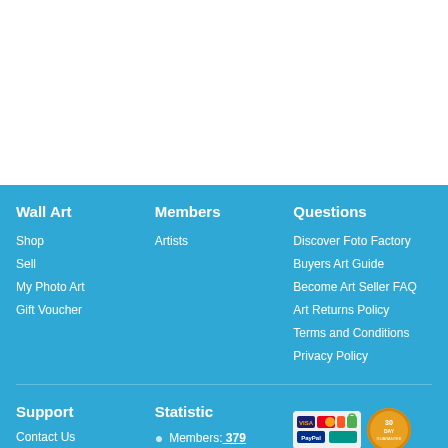Wall Art
Shop
Sell
My Photo Art
Gift Voucher
Members
Artists
Questions
Discover Foto Factory
Buyers Art Guide
Become Art Seller FAQ
Art Returns Policy
Terms and Conditions
Privacy Policy
Support
Contact Us
Statistic
Members: 379
Piece: 1,037
[Figure (logo): Payment badges including credit card logos and a 30-day money back guarantee badge]